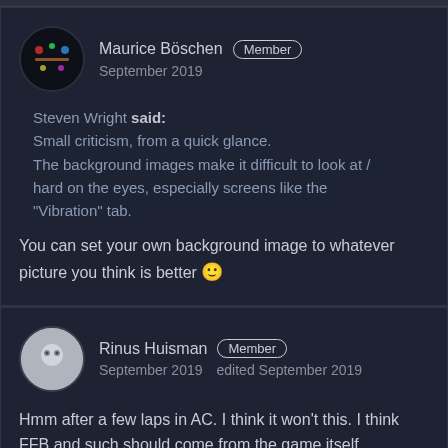Maurice Böschen Member
September 2019

Steven Wright said:
Small criticism, from a quick glance.
The background images make it difficult to look at / hard on the eyes, especially screens like the "Vibration" tab.

You can set your own background image to whatever picture you think is better 🙂
Rinus Huisman Member
September 2019   edited September 2019

Hmm after a few laps in AC. I think it won't this. I think FFB and such should come from the game itself.